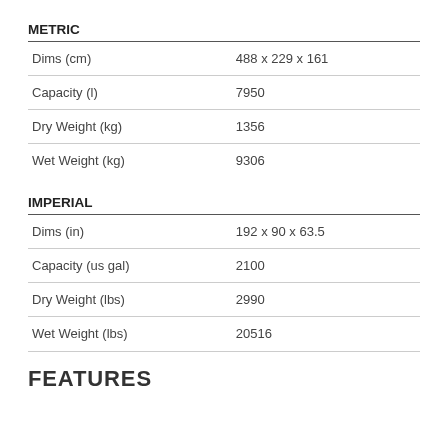METRIC
|  |  |
| --- | --- |
| Dims (cm) | 488 x 229 x 161 |
| Capacity (l) | 7950 |
| Dry Weight (kg) | 1356 |
| Wet Weight (kg) | 9306 |
IMPERIAL
|  |  |
| --- | --- |
| Dims (in) | 192 x 90 x 63.5 |
| Capacity (us gal) | 2100 |
| Dry Weight (lbs) | 2990 |
| Wet Weight (lbs) | 20516 |
FEATURES